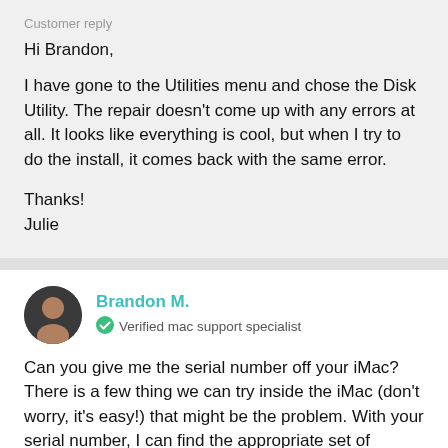Customer reply
Hi Brandon,

I have gone to the Utilities menu and chose the Disk Utility. The repair doesn't come up with any errors at all. It looks like everything is cool, but when I try to do the install, it comes back with the same error.

Thanks!
Julie
Brandon M.
Verified mac support specialist
Can you give me the serial number off your iMac? There is a few thing we can try inside the iMac (don't worry, it's easy!) that might be the problem. With your serial number, I can find the appropriate set of instructions.